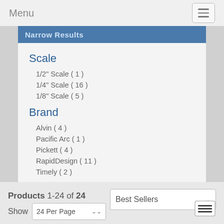Menu
Narrow Results
Scale
1/2" Scale ( 1 )
1/4" Scale ( 16 )
1/8" Scale ( 5 )
Brand
Alvin ( 4 )
Pacific Arc ( 1 )
Pickett ( 4 )
RapidDesign ( 11 )
Timely ( 2 )
Products 1-24 of 24
Best Sellers
Show  24 Per Page